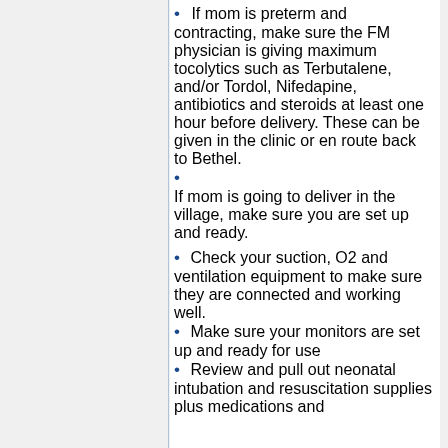If mom is preterm and contracting, make sure the FM physician is giving maximum tocolytics such as Terbutalene, and/or Tordol, Nifedapine, antibiotics and steroids at least one hour before delivery. These can be given in the clinic or en route back to Bethel.
If mom is going to deliver in the village, make sure you are set up and ready.
Check your suction, O2 and ventilation equipment to make sure they are connected and working well.
Make sure your monitors are set up and ready for use
Review and pull out neonatal intubation and resuscitation supplies plus medications and